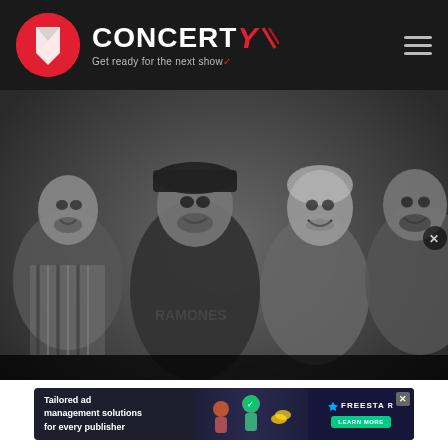[Figure (logo): Concerty logo with circular icon and tagline 'Get ready for the next show']
[Figure (photo): Band photo of Che Sudaka - four male band members smiling, in black and white/sepia tones]
CHE SUDAKA
[Figure (other): Advertisement: Tailored ad management solutions for every publisher - Freestar Learn More]